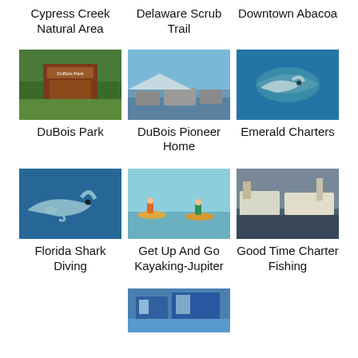Cypress Creek Natural Area
Delaware Scrub Trail
Downtown Abacoa
[Figure (photo): Sign for DuBois Park surrounded by greenery]
DuBois Park
[Figure (photo): Waterfront scene near DuBois Pioneer Home with boats and rocks]
DuBois Pioneer Home
[Figure (photo): Emerald Charters - close-up underwater photo of a shark]
Emerald Charters
[Figure (photo): Underwater photo of a shark for Florida Shark Diving]
Florida Shark Diving
[Figure (photo): People kayaking in shallow water for Get Up And Go Kayaking-Jupiter]
Get Up And Go Kayaking-Jupiter
[Figure (photo): Charter fishing boats docked at marina for Good Time Charter Fishing]
Good Time Charter Fishing
[Figure (photo): Partial view of a building, bottom of page]